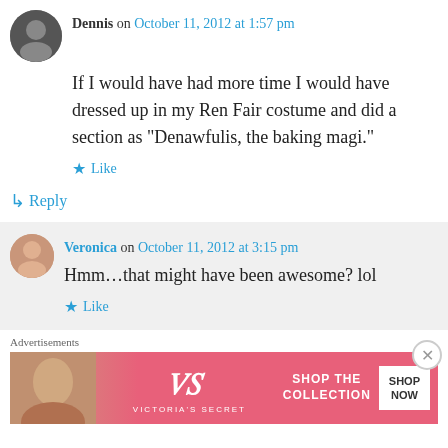Dennis on October 11, 2012 at 1:57 pm
If I would have had more time I would have dressed up in my Ren Fair costume and did a section as “Denawfulis, the baking magi.”
★ Like
↳ Reply
Veronica on October 11, 2012 at 3:15 pm
Hmm…that might have been awesome? lol
★ Like
Advertisements
[Figure (other): Victoria's Secret advertisement banner showing a model, VS logo, 'SHOP THE COLLECTION' text, and 'SHOP NOW' button]